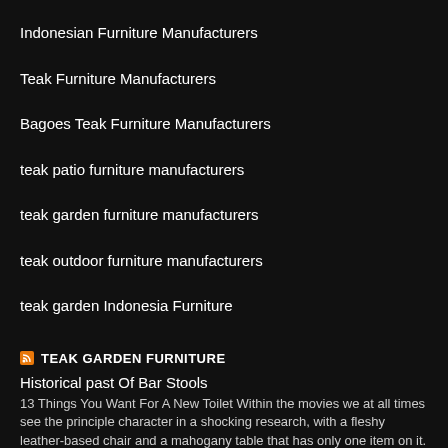Indonesian Furniture Manufacturers
Teak Furniture Manufacturers
Bagoes Teak Furniture Manufacturers
teak patio furniture manufacturers
teak garden furniture manufacturers
teak outdoor furniture manufacturers
teak garden Indonesia Furniture
TEAK GARDEN FURNITURE
Historical past Of Bar Stools
13 Things You Want For A New Toilet Within the movies we at all times see the principle character in a shocking research, with a fleshy leather-based chair and a mahogany table that has only one item on it. The … Continue reading →